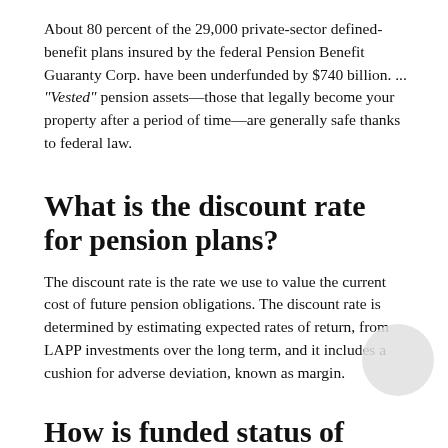About 80 percent of the 29,000 private-sector defined-benefit plans insured by the federal Pension Benefit Guaranty Corp. have been underfunded by $740 billion. ... "Vested" pension assets—those that legally become your property after a period of time—are generally safe thanks to federal law.
What is the discount rate for pension plans?
The discount rate is the rate we use to value the current cost of future pension obligations. The discount rate is determined by estimating expected rates of return, from LAPP investments over the long term, and it includes a cushion for adverse deviation, known as margin.
How is funded status of